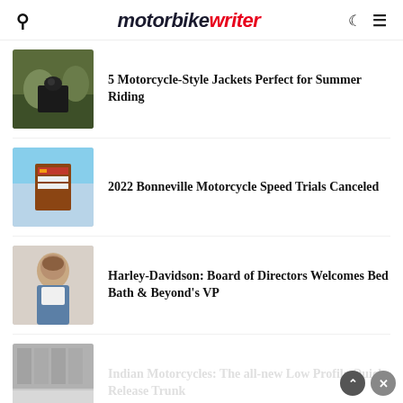motorbike writer
[Figure (photo): Motorcyclist riding on a forest trail in autumn]
5 Motorcycle-Style Jackets Perfect for Summer Riding
[Figure (photo): Bonneville Speed Trials sign at scenic landscape]
2022 Bonneville Motorcycle Speed Trials Canceled
[Figure (photo): Portrait of a man in a suit jacket]
Harley-Davidson: Board of Directors Welcomes Bed Bath & Beyond's VP
[Figure (photo): Partially visible Indian Motorcycles trunk accessory]
Indian Motorcycles: The all-new Low Profile Quick Release Trunk